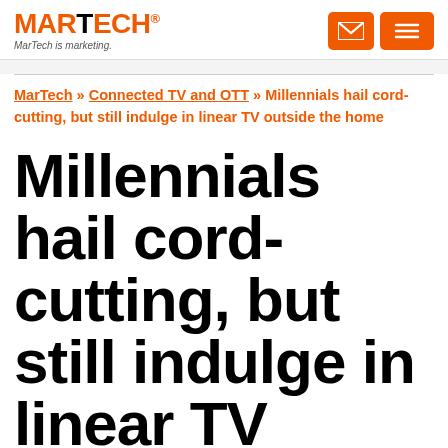MARTECH® MarTech is marketing.
MarTech » Connected TV and OTT » Millennials hail cord-cutting, but still indulge in linear TV outside the home
Millennials hail cord-cutting, but still indulge in linear TV outside the home
OOH TV ads shown to narrow the gap